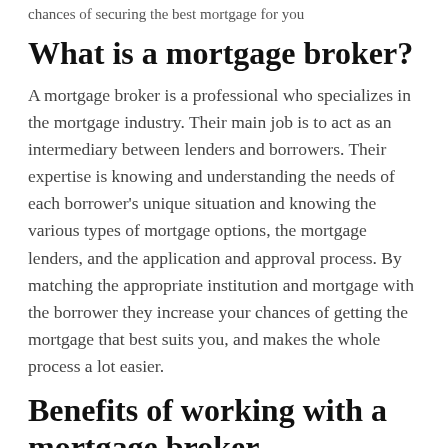chances of securing the best mortgage for you
What is a mortgage broker?
A mortgage broker is a professional who specializes in the mortgage industry. Their main job is to act as an intermediary between lenders and borrowers. Their expertise is knowing and understanding the needs of each borrower's unique situation and knowing the various types of mortgage options, the mortgage lenders, and the application and approval process. By matching the appropriate institution and mortgage with the borrower they increase your chances of getting the mortgage that best suits you, and makes the whole process a lot easier.
Benefits of working with a mortgage broker